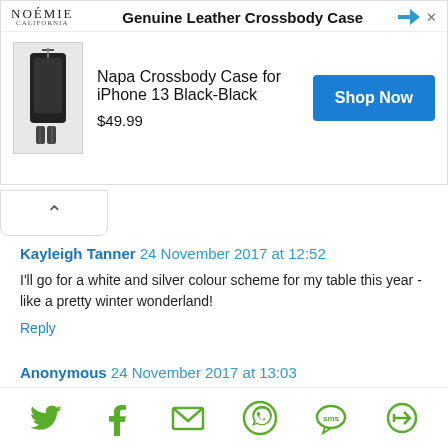[Figure (screenshot): Advertisement banner for NOEMIE Genuine Leather Crossbody Case featuring Napa Crossbody Case for iPhone 13 Black-Black priced at $49.99 with a Shop Now button]
Kayleigh Tanner 24 November 2017 at 12:52
I'll go for a white and silver colour scheme for my table this year - like a pretty winter wonderland!
Reply
Anonymous 24 November 2017 at 13:03
Not as yet decided...TBC

- Anthony G
Reply
[Figure (other): Social sharing icons row: Twitter, Facebook, Email, WhatsApp, SMS, and another share icon, all in green]